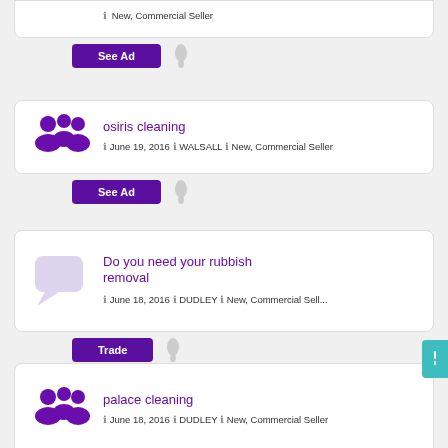[Figure (screenshot): Partial listing card at top showing 'New, Commercial Seller' with See Ad button below]
osiris cleaning
June 19, 2016
WALSALL
New, Commercial Seller
See Ad
Do you need your rubbish removal
June 18, 2016
DUDLEY
New, Commercial Sell...
Trade
palace cleaning
June 18, 2016
DUDLEY
New, Commercial Seller
See Ad